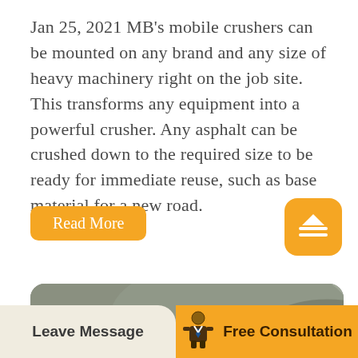Jan 25, 2021 MB's mobile crushers can be mounted on any brand and any size of heavy machinery right on the job site. This transforms any equipment into a powerful crusher. Any asphalt can be crushed down to the required size to be ready for immediate reuse, such as base material for a new road.
Read More
[Figure (photo): Industrial mining/crushing site with orange heavy machinery, conveyor belts, scaffolding, and red flags against a rocky background]
Leave Message
[Figure (illustration): Small icon of a businessman/consultant figure]
Free Consultation